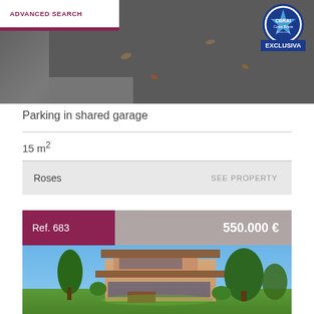[Figure (photo): Top photo of a dark roof with debris, with CBRAI Costa Brava Exclusiva badge in top right corner, and ADVANCED SEARCH white bar overlay in top left]
Parking in shared garage
15 m²
Roses
SEE PROPERTY
Ref. 683
550.000 €
[Figure (photo): Exterior photo of a two-storey Mediterranean villa with terracotta roof, large windows, lush garden, and trees on a sunny day]